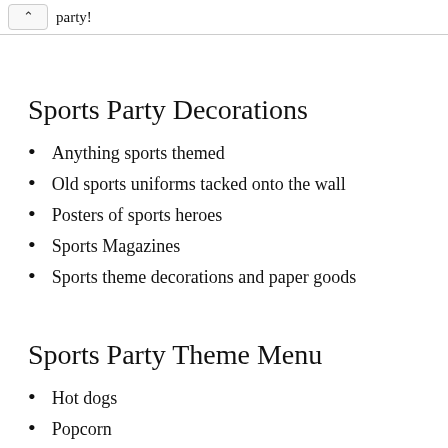party!
Sports Party Decorations
Anything sports themed
Old sports uniforms tacked onto the wall
Posters of sports heroes
Sports Magazines
Sports theme decorations and paper goods
Sports Party Theme Menu
Hot dogs
Popcorn